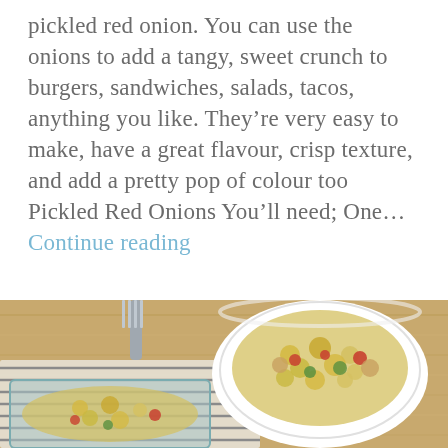pickled red onion. You can use the onions to add a tangy, sweet crunch to burgers, sandwiches, salads, tacos, anything you like. They're very easy to make, have a great flavour, crisp texture, and add a pretty pop of colour too Pickled Red Onions You'll need; One... Continue reading
[Figure (photo): Overhead view of a white bowl of pasta salad with vegetables (tomatoes, green beans, chickpeas) on a wooden cutting board, with a fork and striped cloth napkin visible, and a glass baking dish of the same salad in the lower left corner.]